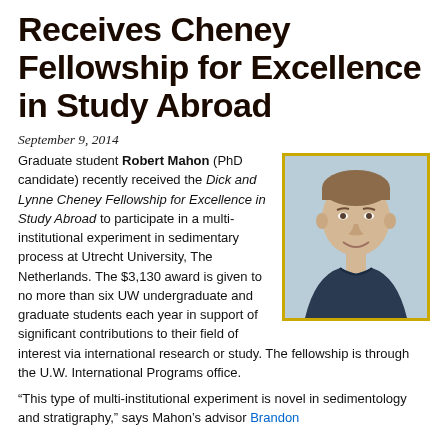Receives Cheney Fellowship for Excellence in Study Abroad
September 9, 2014
Graduate student Robert Mahon (PhD candidate) recently received the Dick and Lynne Cheney Fellowship for Excellence in Study Abroad to participate in a multi-institutional experiment in sedimentary process at Utrecht University, The Netherlands. The $3,130 award is given to no more than six UW undergraduate and graduate students each year in support of significant contributions to their field of interest via international research or study. The fellowship is through the U.W. International Programs office.
[Figure (photo): Headshot photo of Robert Mahon, a young man with short light brown hair, smiling, wearing a dark jacket, with a light blue/grey background. Photo is framed with a gold/yellow border.]
“This type of multi-institutional experiment is novel in sedimentology and stratigraphy,” says Mahon’s advisor Brandon